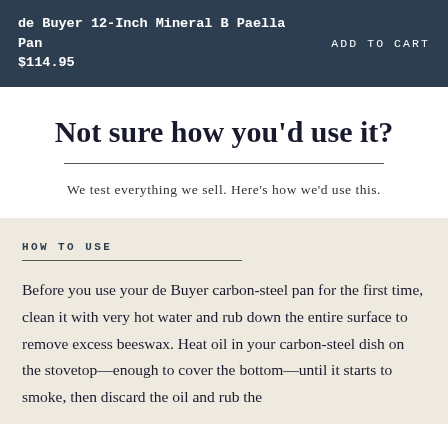de Buyer 12-Inch Mineral B Paella Pan $114.95   ADD TO CART
Not sure how you’d use it?
We test everything we sell. Here’s how we’d use this.
HOW TO USE
Before you use your de Buyer carbon-steel pan for the first time, clean it with very hot water and rub down the entire surface to remove excess beeswax. Heat oil in your carbon-steel dish on the stovetop—enough to cover the bottom—until it starts to smoke, then discard the oil and rub the